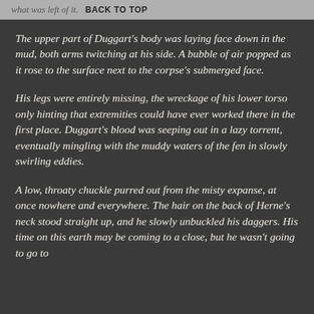what was left of it.  BACK TO TOP
The upper part of Duggart's body was laying face down in the mud, both arms twitching at his side. A bubble of air popped as it rose to the surface next to the corpse's submerged face.
His legs were entirely missing, the wreckage of his lower torso only hinting that extremities could have ever worked there in the first place. Duggart's blood was seeping out in a lazy torrent, eventually mingling with the muddy waters of the fen in slowly swirling eddies.
A low, throaty chuckle purred out from the misty expanse, at once nowhere and everywhere. The hair on the back of Herne's neck stood straight up, and he slowly unbuckled his daggers. His time on this earth may be coming to a close, but he wasn't going to go to